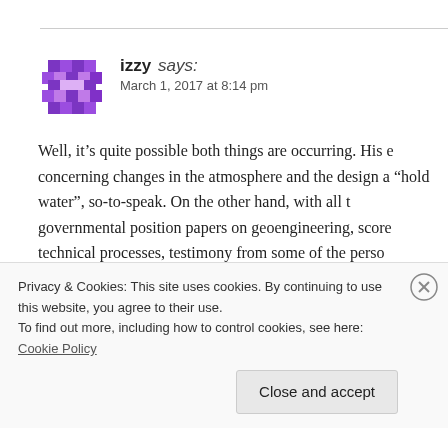[Figure (illustration): Purple pixel/diamond avatar icon for user 'izzy']
izzy says:
March 1, 2017 at 8:14 pm
Well, it’s quite possible both things are occurring. His e concerning changes in the atmosphere and the design a “hold water”, so-to-speak. On the other hand, with all t governmental position papers on geoengineering, score technical processes, testimony from some of the perso outfitted aircraft, a long and checkered history of offici things, and the frightening chemical composition of the samples, it also seems almost inarguable that something
Privacy & Cookies: This site uses cookies. By continuing to use this website, you agree to their use.
To find out more, including how to control cookies, see here: Cookie Policy
Close and accept